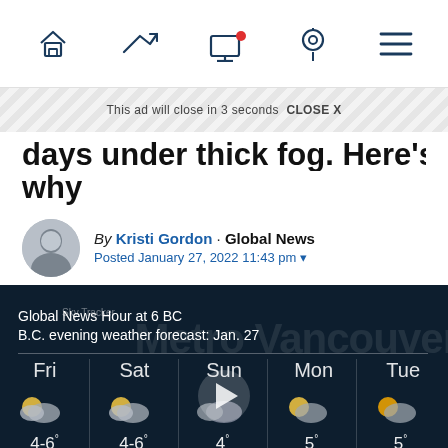Navigation bar with home, trending, video, location, and menu icons
This ad will close in 3 seconds  CLOSE X
days under thick fog. Here's why
By Kristi Gordon · Global News
Posted January 27, 2022 11:43 pm
[Figure (screenshot): Global News Hour at 6 BC weather forecast video thumbnail showing B.C. evening weather forecast for Jan. 27 with 5-day forecast: Fri 4-6°/0°, Sat 4-6°/0°, Sun 4°/3°, Mon 5°/0°, Tue 5°/1°. Average High 6°.]